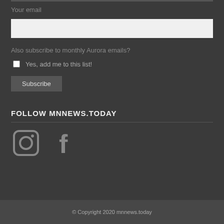Your email
Also subscribe to monthly Aurora emails?
Yes, add me to this list!
Subscribe
FOLLOW MNNEWS.TODAY
[Figure (logo): Instagram icon (camera outline in gray)]
[Figure (logo): Facebook icon (letter f in gray)]
© Copyright 2020 mnnews.today